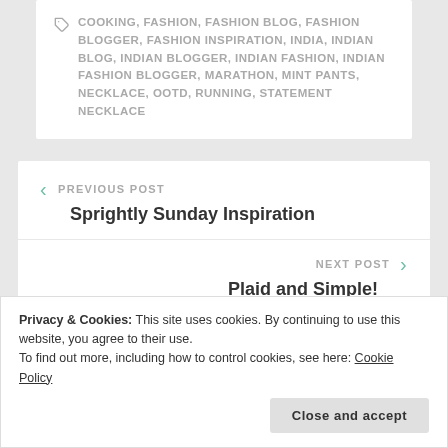COOKING, FASHION, FASHION BLOG, FASHION BLOGGER, FASHION INSPIRATION, INDIA, INDIAN BLOG, INDIAN BLOGGER, INDIAN FASHION, INDIAN FASHION BLOGGER, MARATHON, MINT PANTS, NECKLACE, OOTD, RUNNING, STATEMENT NECKLACE
< PREVIOUS POST
Sprightly Sunday Inspiration
NEXT POST >
Plaid and Simple!
Privacy & Cookies: This site uses cookies. By continuing to use this website, you agree to their use.
To find out more, including how to control cookies, see here: Cookie Policy
Close and accept